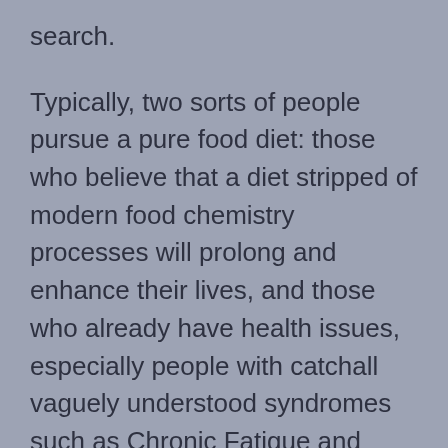search.
Typically, two sorts of people pursue a pure food diet: those who believe that a diet stripped of modern food chemistry processes will prolong and enhance their lives, and those who already have health issues, especially people with catchall vaguely understood syndromes such as Chronic Fatigue and Hashimoto's. Controlling what one consumes is not typically curative but avoiding certain ingredients is a significant strategy for mitigating symptoms.